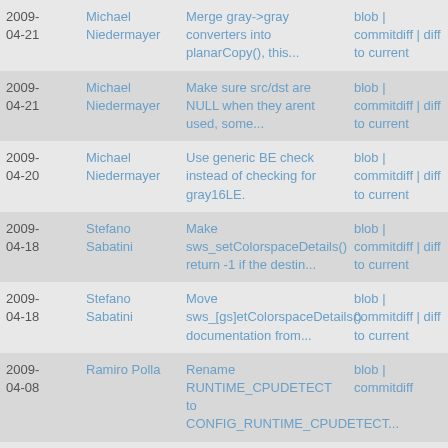| Date | Author | Commit Message | Links |
| --- | --- | --- | --- |
| 2009-04-21 | Michael Niedermayer | Merge gray->gray converters into planarCopy(), this... | blob | commitdiff | diff to current |
| 2009-04-21 | Michael Niedermayer | Make sure src/dst are NULL when they arent used, some... | blob | commitdiff | diff to current |
| 2009-04-20 | Michael Niedermayer | Use generic BE check instead of checking for gray16LE. | blob | commitdiff | diff to current |
| 2009-04-18 | Stefano Sabatini | Make sws_setColorspaceDetails() return -1 if the destin... | blob | commitdiff | diff to current |
| 2009-04-18 | Stefano Sabatini | Move sws_[gs]etColorspaceDetails() documentation from... | blob | commitdiff | diff to current |
| 2009-04-08 | Ramiro Polla | Rename RUNTIME_CPUDETECT to CONFIG_RUNTIME_CPUDETECT... | blob | commitdiff |